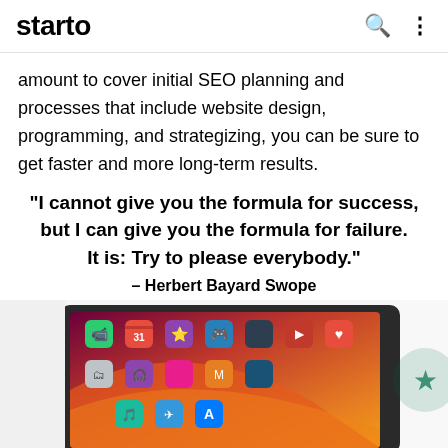starto
amount to cover initial SEO planning and processes that include website design, programming, and strategizing, you can be sure to get faster and more long-term results.
“I cannot give you the formula for success, but I can give you the formula for failure. It is: Try to please everybody.” – Herbert Bayard Swope
[Figure (photo): A tablet device (iPad) showing a home screen with colorful app icons on a red/orange wallpaper, photographed at an angle on a white surface. A partial Starbucks cup lid is visible on the right edge.]